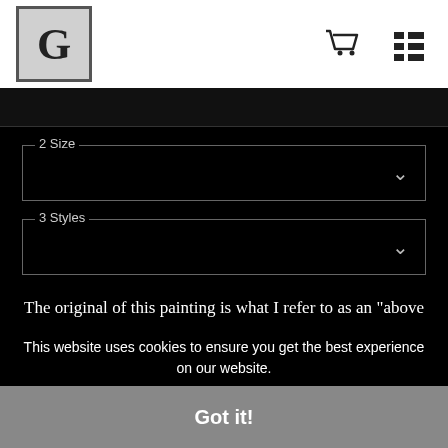G [logo] [cart icon] [menu icon]
2 Size
3 Styles
The original of this painting is what I refer to as an "above and below", which is a line that I've done with many other styles, It's concept is to create a style of
This website uses cookies to ensure you get the best experience on our website.
Got it!